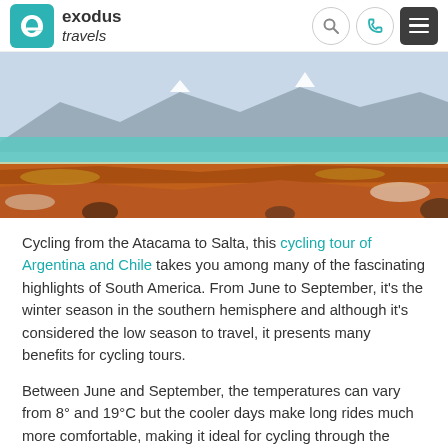exodus travels
[Figure (photo): Landscape photo of the Atacama desert region showing red/orange rocky terrain in the foreground, a turquoise lake in the middle distance, and mountains with snow caps in the background under a blue sky.]
Cycling from the Atacama to Salta, this cycling tour of Argentina and Chile takes you among many of the fascinating highlights of South America. From June to September, it's the winter season in the southern hemisphere and although it's considered the low season to travel, it presents many benefits for cycling tours.
Between June and September, the temperatures can vary from 8° and 19°C but the cooler days make long rides much more comfortable, making it ideal for cycling through the unearthly Moon Valley, the salt flats of Jama